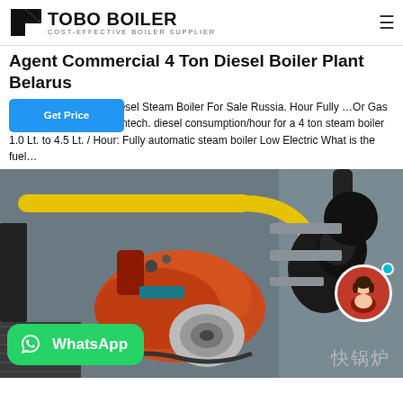TOBO BOILER — COST-EFFECTIVE BOILER SUPPLIER
Agent Commercial 4 Ton Diesel Boiler Plant Belarus
…esel Steam Boiler For Sale Russia. Hour Fully …Or Gas Fired Hot Water Boiler Intech. diesel consumption/hour for a 4 ton steam boiler 1.0 Lt. to 4.5 Lt. / Hour: Fully automatic steam boiler Low Electric What is the fuel…
[Figure (photo): Industrial diesel/gas fired boiler unit with orange burner assembly, yellow pipes, black components, mounted on a wall in an industrial setting. WhatsApp button overlay at bottom left, female avatar circle at bottom right, Chinese text watermark at bottom right reading 快锅炉.]